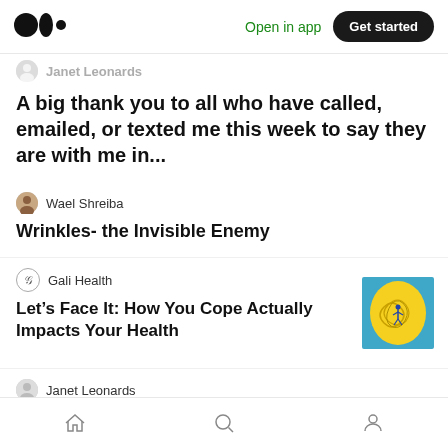Medium logo | Open in app | Get started
Janet Leonards
A big thank you to all who have called, emailed, or texted me this week to say they are with me in...
Wael Shreiba
Wrinkles- the Invisible Enemy
Gali Health
Let’s Face It: How You Cope Actually Impacts Your Health
[Figure (illustration): Yellow illustrated human head with tangled lines inside, on blue background]
Janet Leonards
The Continent of Cancer
Home | Search | Profile navigation icons